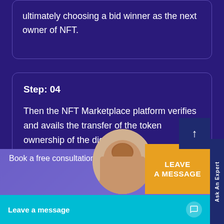ultimately choosing a bid winner as the next owner of NFT.
Step: 04
Then the NFT Marketplace platform verifies and avails the transfer of the token ownership of the digital asset.
Book a free consultation w
LEAVE A MESSAGE
Leave a message